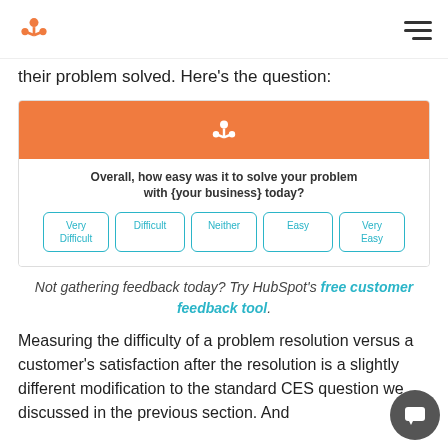HubSpot logo and navigation menu
their problem solved. Here's the question:
[Figure (screenshot): HubSpot CES survey widget with orange header showing HubSpot logo, question 'Overall, how easy was it to solve your problem with {your business} today?' and five response buttons: Very Difficult, Difficult, Neither, Easy, Very Easy]
Not gathering feedback today? Try HubSpot's free customer feedback tool.
Measuring the difficulty of a problem resolution versus a customer's satisfaction after the resolution is a slightly different modification to the standard CES question we discussed in the previous section. And